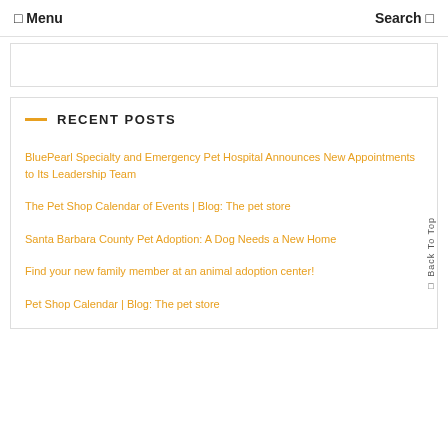☰ Menu   Search 🔍
RECENT POSTS
BluePearl Specialty and Emergency Pet Hospital Announces New Appointments to Its Leadership Team
The Pet Shop Calendar of Events | Blog: The pet store
Santa Barbara County Pet Adoption: A Dog Needs a New Home
Find your new family member at an animal adoption center!
Pet Shop Calendar | Blog: The pet store